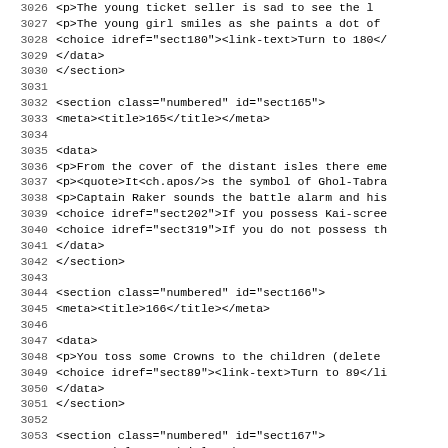Source code listing lines 3026-3058, showing XML markup for a gamebook/interactive fiction document with sections sect165, sect166, sect167.